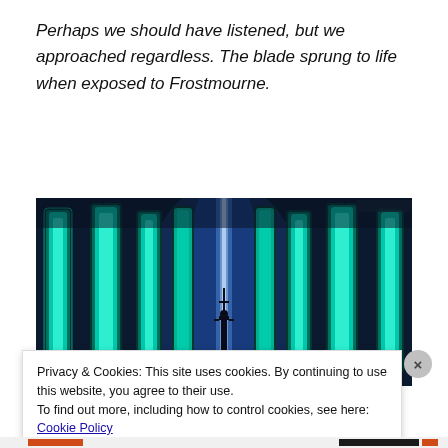Perhaps we should have listened, but we approached regardless. The blade sprung to life when exposed to Frostmourne.
[Figure (screenshot): Dark fantasy game screenshot showing a glowing cyan/teal crystal chamber with tall shard-like columns and a small figure silhouetted at center, lit by bright blue-white vertical light beams. Style matches World of Warcraft Icecrown aesthetic.]
Privacy & Cookies: This site uses cookies. By continuing to use this website, you agree to their use.
To find out more, including how to control cookies, see here: Cookie Policy
Close and accept